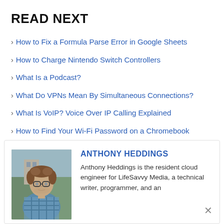READ NEXT
How to Fix a Formula Parse Error in Google Sheets
How to Charge Nintendo Switch Controllers
What Is a Podcast?
What Do VPNs Mean By Simultaneous Connections?
What Is VoIP? Voice Over IP Calling Explained
How to Find Your Wi-Fi Password on a Chromebook
[Figure (photo): Headshot photo of Anthony Heddings, a young man with glasses and curly hair wearing a plaid shirt, photographed outdoors]
ANTHONY HEDDINGS
Anthony Heddings is the resident cloud engineer for LifeSavvy Media, a technical writer, programmer, and an